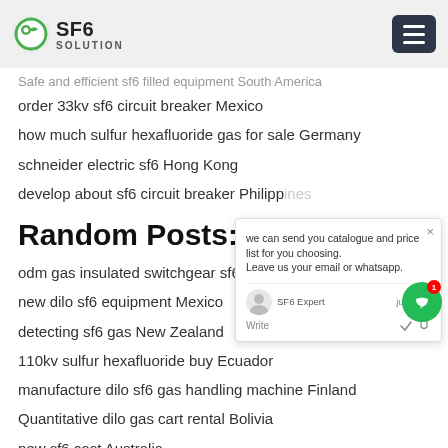SF6 SOLUTION
Safe and efficient sf6 filled equipment South America order 33kv sf6 circuit breaker Mexico
how much sulfur hexafluoride gas for sale Germany
schneider electric sf6 Hong Kong
develop about sf6 circuit breaker Philippines
Random Posts:
odm gas insulated switchgear sf6 United
new dilo sf6 equipment Mexico
detecting sf6 gas New Zealand
110kv sulfur hexafluoride buy Ecuador
manufacture dilo sf6 gas handling machine Finland
Quantitative dilo gas cart rental Bolivia
new sf6 cost Australia
110kv sf6 dilo Finland